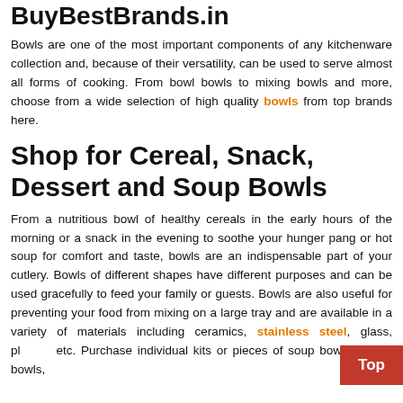BuyBestBrands.in
Bowls are one of the most important components of any kitchenware collection and, because of their versatility, can be used to serve almost all forms of cooking. From bowl bowls to mixing bowls and more, choose from a wide selection of high quality bowls from top brands here.
Shop for Cereal, Snack, Dessert and Soup Bowls
From a nutritious bowl of healthy cereals in the early hours of the morning or a snack in the evening to soothe your hunger pang or hot soup for comfort and taste, bowls are an indispensable part of your cutlery. Bowls of different shapes have different purposes and can be used gracefully to feed your family or guests. Bowls are also useful for preventing your food from mixing on a large tray and are available in a variety of materials including ceramics, stainless steel, glass, pl etc. Purchase individual kits or pieces of soup bowls, cereal bowls,